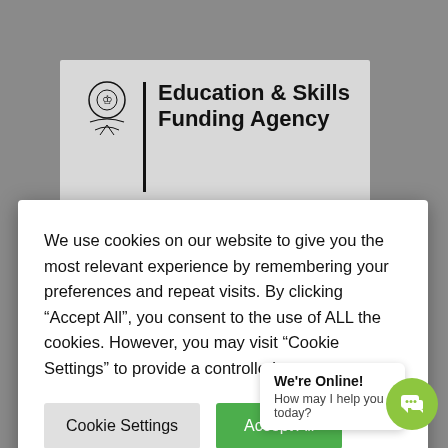[Figure (logo): Education & Skills Funding Agency government logo with royal crest and vertical black divider]
[Figure (logo): European Union flag (blue with circle of yellow stars) alongside text 'European Social Fund']
We use cookies on our website to give you the most relevant experience by remembering your preferences and repeat visits. By clicking “Accept All”, you consent to the use of ALL the cookies. However, you may visit “Cookie Settings” to provide a controlled consent.
Cookie Settings
Accept All
We're Online!
How may I help you today?